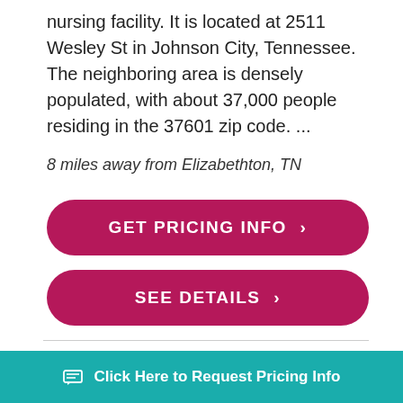nursing facility. It is located at 2511 Wesley St in Johnson City, Tennessee. The neighboring area is densely populated, with about 37,000 people residing in the 37601 zip code. ...
8 miles away from Elizabethton, TN
GET PRICING INFO ›
SEE DETAILS ›
[Figure (photo): Exterior photo of a nursing facility building with a blue sign and surrounding trees and lawn]
Click Here to Request Pricing Info